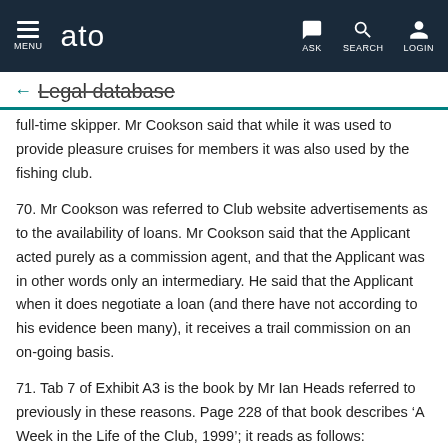ato — MENU | ASK | SEARCH | LOGIN
← Legal database
full-time skipper. Mr Cookson said that while it was used to provide pleasure cruises for members it was also used by the fishing club.
70. Mr Cookson was referred to Club website advertisements as to the availability of loans. Mr Cookson said that the Applicant acted purely as a commission agent, and that the Applicant was in other words only an intermediary. He said that the Applicant when it does negotiate a loan (and there have not according to his evidence been many), it receives a trail commission on an on-going basis.
71. Tab 7 of Exhibit A3 is the book by Mr Ian Heads referred to previously in these reasons. Page 228 of that book describes 'A Week in the Life of the Club, 1999'; it reads as follows: